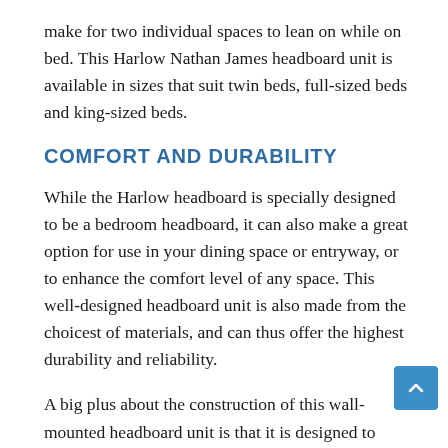make for two individual spaces to lean on while on bed. This Harlow Nathan James headboard unit is available in sizes that suit twin beds, full-sized beds and king-sized beds.
COMFORT AND DURABILITY
While the Harlow headboard is specially designed to be a bedroom headboard, it can also make a great option for use in your dining space or entryway, or to enhance the comfort level of any space. This well-designed headboard unit is also made from the choicest of materials, and can thus offer the highest durability and reliability.
A big plus about the construction of this wall-mounted headboard unit is that it is designed to save considerable amount of space. The unit is perfect for small spaces and can be hanged with or without the included suspension straps.